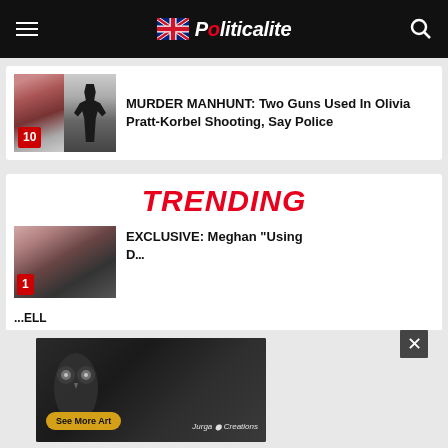Politicalite
[Figure (screenshot): Thumbnail image showing CCTV footage related to shooting, with red badge showing number 10]
MURDER MANHUNT: Two Guns Used In Olivia Pratt-Korbel Shooting, Say Police
TRENDING
[Figure (photo): Photo of Meghan Markle with badge number 1]
EXCLUSIVE: Meghan "Using
[Figure (advertisement): Advertisement overlay showing owl and lion artwork, with 'See More Art' button and 'Jurga Creations' branding]
...ELL